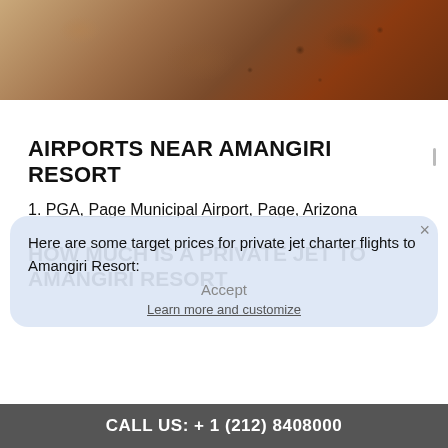[Figure (photo): Close-up photo of textured rock or animal skin surface in warm brown and tan tones]
AIRPORTS NEAR AMANGIRI RESORT
1. PGA, Page Municipal Airport, Page, Arizona
HOW MUCH IS A PRIVATE JET TO AMANGIRI RESORT
Here are some target prices for private jet charter flights to Amangiri Resort:
CALL US: + 1 (212) 8408000